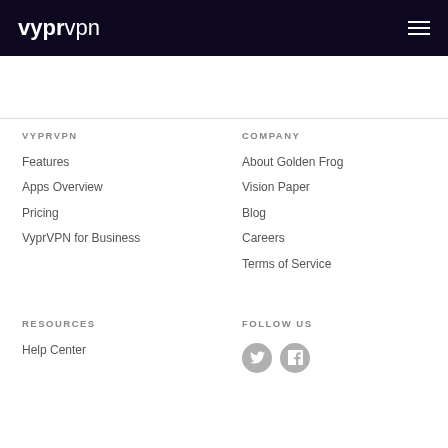vyprvpn [hamburger menu icon]
VYPRVPN
Features
Apps Overview
Pricing
VyprVPN for Business
COMPANY
About Golden Frog
Vision Paper
Blog
Careers
Terms of Service
RESOURCES
Help Center
FOLLOW US
[Figure (illustration): Twitter and Facebook social media icons as grey circles with white bird and f logos]